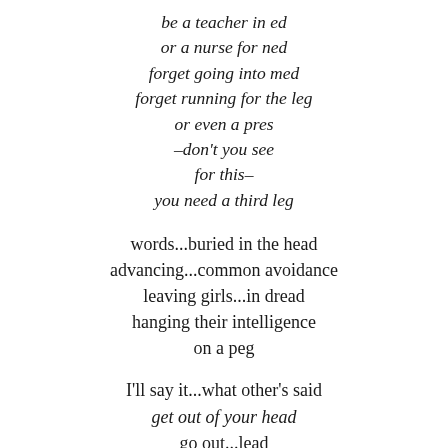be a teacher in ed
or a nurse for ned
forget going into med
forget running for the leg
or even a pres
–don't you see
for this–
you need a third leg
words...buried in the head
advancing...common avoidance
leaving girls...in dread
hanging their intelligence
on a peg
I'll say it...what other's said
get out of your head
go out...lead
forget the man-ego clout
don't be misled
don't listen to internal's doubt
bypass labels, bitch, beery